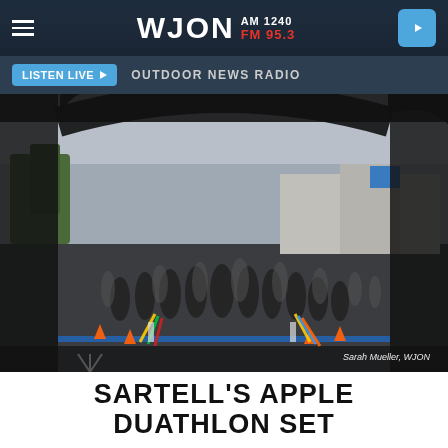WJON AM 1240 FM 95.3
LISTEN LIVE  OUTDOOR NEWS RADIO
[Figure (photo): Athletes at the start line of the Sartell Apple Duathlon, standing under a black arch gateway on a cloudy day, with orange cones and colorful streamers visible. Photo credit: Sarah Mueller, WJON]
Sarah Mueller, WJON
SARTELL'S APPLE DUATHLON SET